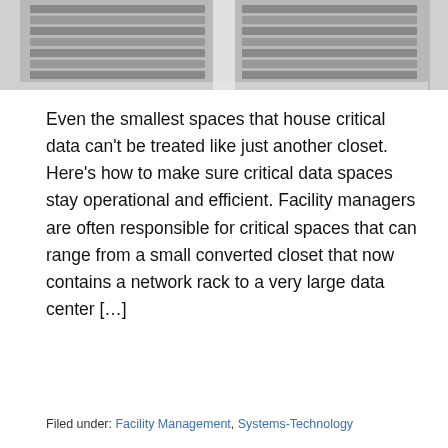[Figure (photo): Black and white photo of server rack / data center equipment, showing two racks side by side]
Even the smallest spaces that house critical data can't be treated like just another closet. Here's how to make sure critical data spaces stay operational and efficient. Facility managers are often responsible for critical spaces that can range from a small converted closet that now contains a network rack to a very large data center [...]
Read more
Filed under: Facility Management, Systems-Technology
MOBILE TECHNOLOGY OFFERS